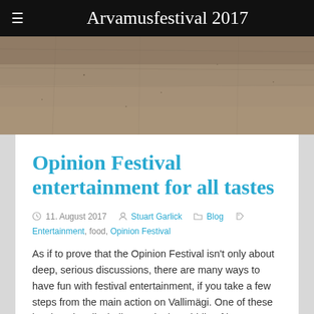Arvamusfestival 2017
[Figure (photo): Outdoor photo showing a sandy or gravel ground surface, brownish-grey texture, taken from close to ground level.]
Opinion Festival entertainment for all tastes
11. August 2017   Stuart Garlick   Blog   Entertainment, food, Opinion Festival
As if to prove that the Opinion Festival isn't only about deep, serious discussions, there are many ways to have fun with festival entertainment, if you take a few steps from the main action on Vallimägi. One of these is a beach volleyball court, in the middle of host town Paide, a usually sleepy place that is,